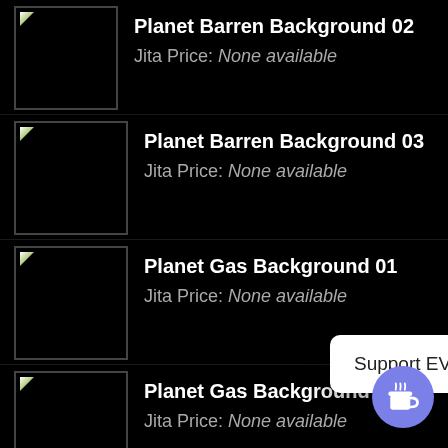Planet Barren Background 02
Jita Price: None available
Planet Barren Background 03
Jita Price: None available
Planet Gas Background 01
Jita Price: None available
Planet Gas Background 02
Jita Price: None available
Planet Ice Background 01
Jita Price: None available
Radon ...
Jita Price: None available
Support EVE Ref